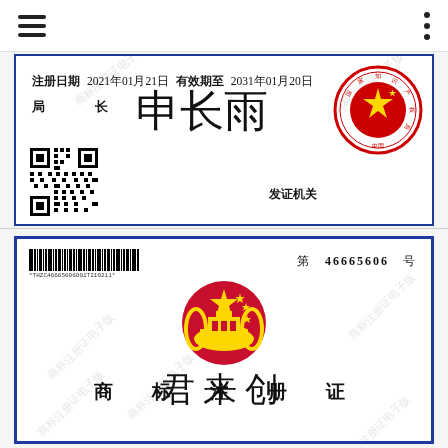Navigation bar with hamburger menu and dots menu
[Figure (other): Bottom portion of a Chinese Trademark Registration Certificate showing: 注册日期 2021年01月21日 有效期至 2031年01月20日, 局长 with signature, 发证机关, official red circular stamp of 国家知识产权局, and QR code. Watermark text: 商标注册证电子版]
[Figure (other): Full Chinese Trademark Registration Certificate (商标注册证) with barcode, serial number 第 46665606 号, national emblem of China, title 商标注册证, and brand name 君来创. Watermark text: 商标注册证电子版]